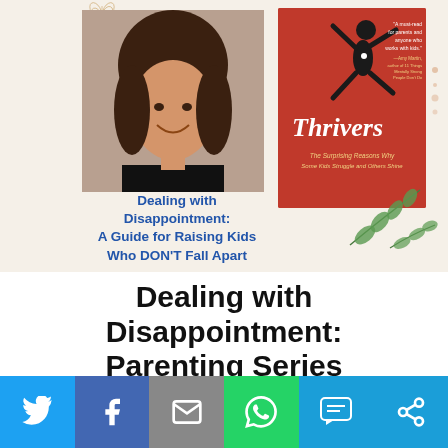[Figure (photo): Banner image with headshot of a woman with brown hair smiling, and a book cover for Thrivers (red cover with silhouette of jumping child) on a cream/beige background with leaf decorations. Overlay text reads: Dealing with Disappointment: A Guide for Raising Kids Who DON'T Fall Apart]
Dealing with Disappointment: Parenting Series
[Figure (infographic): Social share bar at bottom with Twitter, Facebook, Email, WhatsApp, SMS, and More buttons]